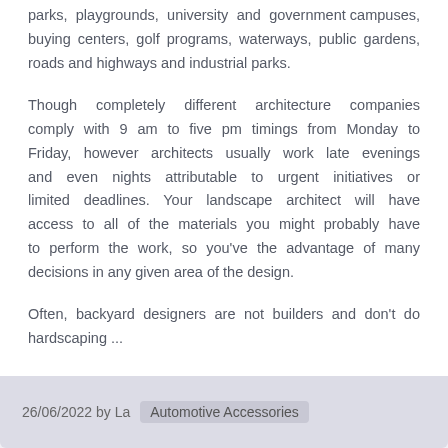parks, playgrounds, university and government campuses, buying centers, golf programs, waterways, public gardens, roads and highways and industrial parks.
Though completely different architecture companies comply with 9 am to five pm timings from Monday to Friday, however architects usually work late evenings and even nights attributable to urgent initiatives or limited deadlines. Your landscape architect will have access to all of the materials you might probably have to perform the work, so you've the advantage of many decisions in any given area of the design.
Often, backyard designers are not builders and don't do hardscaping ...
26/06/2022 by La   Automotive Accessories